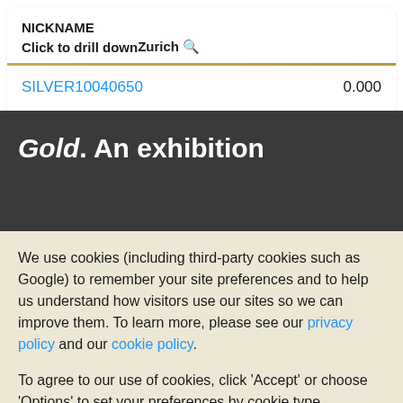NICKNAME
Click to drill down	Zurich 🔍
SILVER10040650	0.000
Gold. An exhibition
We use cookies (including third-party cookies such as Google) to remember your site preferences and to help us understand how visitors use our sites so we can improve them. To learn more, please see our privacy policy and our cookie policy.
To agree to our use of cookies, click 'Accept' or choose 'Options' to set your preferences by cookie type.